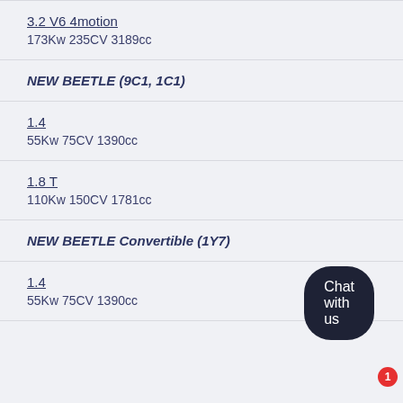3.2 V6 4motion
173Kw 235CV 3189cc
NEW BEETLE (9C1, 1C1)
1.4
55Kw 75CV 1390cc
1.8 T
110Kw 150CV 1781cc
NEW BEETLE Convertible (1Y7)
1.4
55Kw 75CV 1390cc